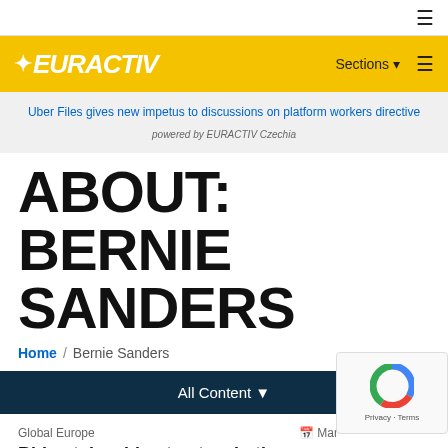≡
EURACTIV — Sections ≡
Uber Files gives new impetus to discussions on platform workers directive powered by EURACTIV Czechia
ABOUT: BERNIE SANDERS
Home / Bernie Sanders
All Content ▾
Global Europe
Mar
Biden takes big step to win the Democratic nomination